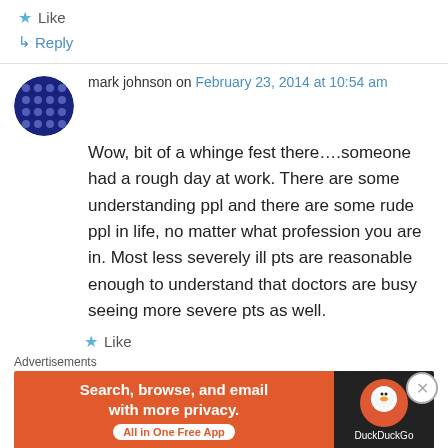★ Like
↳ Reply
mark johnson on February 23, 2014 at 10:54 am
Wow, bit of a whinge fest there….someone had a rough day at work. There are some understanding ppl and there are some rude ppl in life, no matter what profession you are in. Most less severely ill pts are reasonable enough to understand that doctors are busy seeing more severe pts as well.
★ Like
Advertisements
[Figure (screenshot): DuckDuckGo advertisement banner: orange background with text 'Search, browse, and email with more privacy.' and 'All in One Free App', with DuckDuckGo logo on dark background on the right side.]